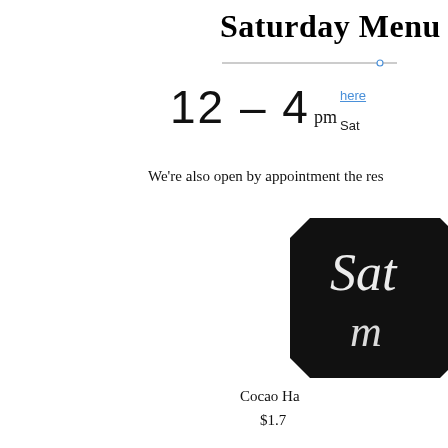Saturday Menu
12 – 4 pm
here
Sat
We're also open by appointment the res
[Figure (photo): Chalkboard sign with handwritten text reading 'Sat m']
Cocao Ha
$1.7
Chocolate
$1
Rus
$9.00